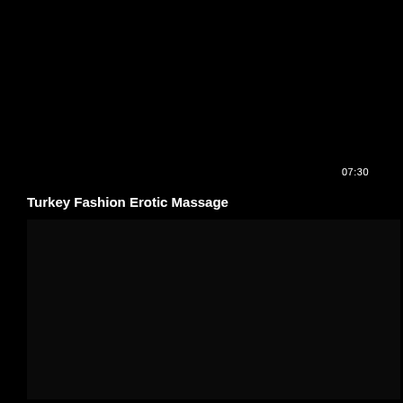[Figure (screenshot): Dark/black video thumbnail rectangle, top video player area with duration stamp 07:30 in bottom right corner]
Turkey Fashion Erotic Massage
[Figure (screenshot): Dark/black video thumbnail rectangle, second video player area below the title]